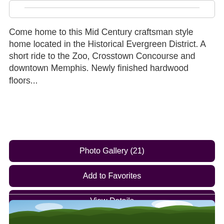[Figure (other): Top card section with horizontal divider line]
Come home to this Mid Century craftsman style home located in the Historical Evergreen District. A short ride to the Zoo, Crosstown Concourse and downtown Memphis. Newly finished hardwood floors...
Photo Gallery (21)
Add to Favorites
View Details
[Figure (photo): Outdoor photo showing green trees against a blue sky with white clouds]